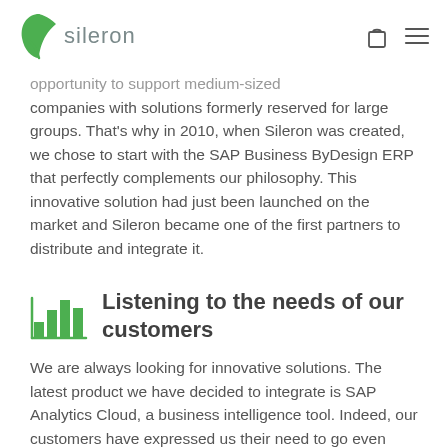sileron
opportunity to support medium-sized companies with solutions formerly reserved for large groups. That's why in 2010, when Sileron was created, we chose to start with the SAP Business ByDesign ERP that perfectly complements our philosophy. This innovative solution had just been launched on the market and Sileron became one of the first partners to distribute and integrate it.
Listening to the needs of our customers
We are always looking for innovative solutions. The latest product we have decided to integrate is SAP Analytics Cloud, a business intelligence tool. Indeed, our customers have expressed us their need to go even